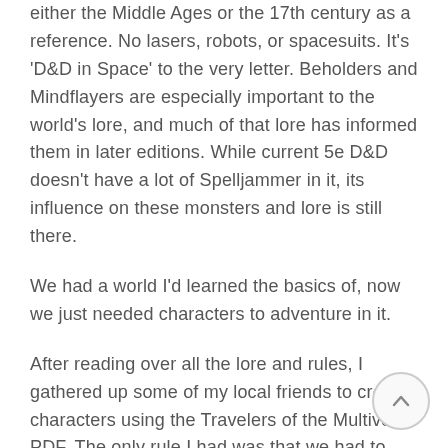either the Middle Ages or the 17th century as a reference. No lasers, robots, or spacesuits. It's 'D&D in Space' to the very letter. Beholders and Mindflayers are especially important to the world's lore, and much of that lore has informed them in later editions. While current 5e D&D doesn't have a lot of Spelljammer in it, its influence on these monsters and lore is still there.
We had a world I'd learned the basics of, now we just needed characters to adventure in it.
After reading over all the lore and rules, I gathered up some of my local friends to create characters using the Travelers of the Multiverse PDF. The only rule I had was that we had to use these player options for race and no others. No humans, dwarves, elves, tieflings or any others from the PHB. Our goal was to create a Mos Eisley Cantina's worth of colorful weirdos to adventure together with.
Here's who we came up with: